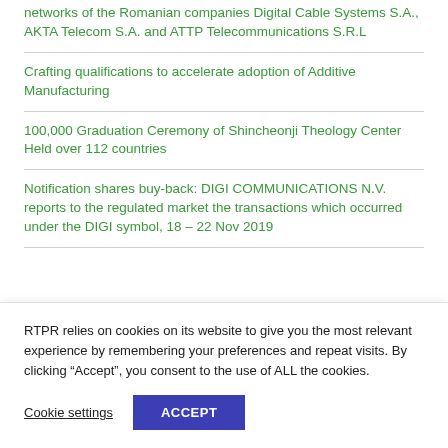networks of the Romanian companies Digital Cable Systems S.A., AKTA Telecom S.A. and ATTP Telecommunications S.R.L
Crafting qualifications to accelerate adoption of Additive Manufacturing
100,000 Graduation Ceremony of Shincheonji Theology Center Held over 112 countries
Notification shares buy-back: DIGI COMMUNICATIONS N.V. reports to the regulated market the transactions which occurred under the DIGI symbol, 18 – 22 Nov 2019
RTPR relies on cookies on its website to give you the most relevant experience by remembering your preferences and repeat visits. By clicking “Accept”, you consent to the use of ALL the cookies.